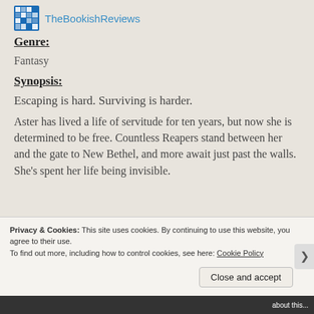TheBookishReviews
Genre:
Fantasy
Synopsis:
Escaping is hard. Surviving is harder.
Aster has lived a life of servitude for ten years, but now she is determined to be free. Countless Reapers stand between her and the gate to New Bethel, and more await just past the walls. She’s spent her life being invisible.
Privacy & Cookies: This site uses cookies. By continuing to use this website, you agree to their use. To find out more, including how to control cookies, see here: Cookie Policy
Close and accept